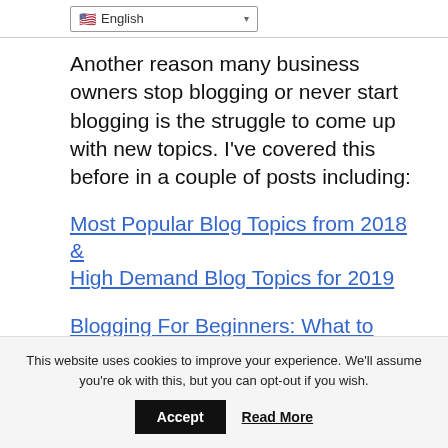English
Another reason many business owners stop blogging or never start blogging is the struggle to come up with new topics. I've covered this before in a couple of posts including:
Most Popular Blog Topics from 2018 & High Demand Blog Topics for 2019
Blogging For Beginners: What to Blog About
This website uses cookies to improve your experience. We'll assume you're ok with this, but you can opt-out if you wish.
Accept   Read More